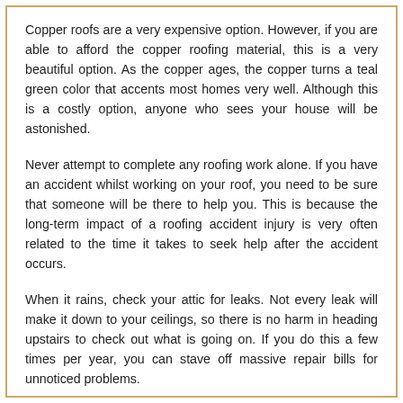Copper roofs are a very expensive option. However, if you are able to afford the copper roofing material, this is a very beautiful option. As the copper ages, the copper turns a teal green color that accents most homes very well. Although this is a costly option, anyone who sees your house will be astonished.
Never attempt to complete any roofing work alone. If you have an accident whilst working on your roof, you need to be sure that someone will be there to help you. This is because the long-term impact of a roofing accident injury is very often related to the time it takes to seek help after the accident occurs.
When it rains, check your attic for leaks. Not every leak will make it down to your ceilings, so there is no harm in heading upstairs to check out what is going on. If you do this a few times per year, you can stave off massive repair bills for unnoticed problems.
Putting on a roof is not easy, which is why most professionals think about this...